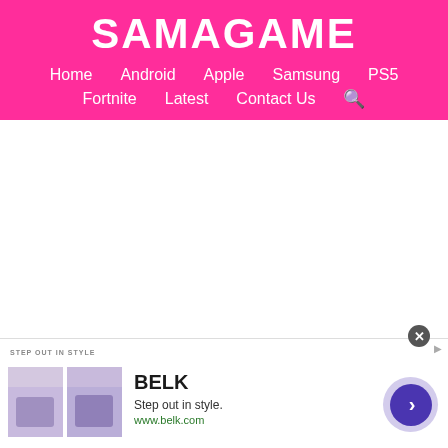SAMAGAME
Home | Android | Apple | Samsung | PS5 | Fortnite | Latest | Contact Us
[Figure (other): Ad banner: BELK - Step out in style. www.belk.com with product images and CTA button]